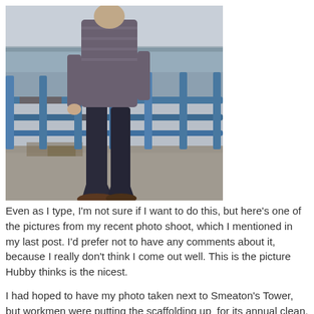[Figure (photo): A person standing near a blue metal railing by the waterfront/sea, wearing dark jeans and a grey/purple striped long-sleeve top. The photo is taken from below, showing mostly the lower body and legs. The sea and overcast sky are visible in the background.]
Even as I type, I'm not sure if I want to do this, but here's one of the pictures from my recent photo shoot, which I mentioned in my last post. I'd prefer not to have any comments about it, because I really don't think I come out well. This is the picture Hubby thinks is the nicest.

I had hoped to have my photo taken next to Smeaton's Tower, but workmen were putting the scaffolding up  for its annual clean. Perhaps that's why the day felt so wrong - the image I had in mind wasn't possible.